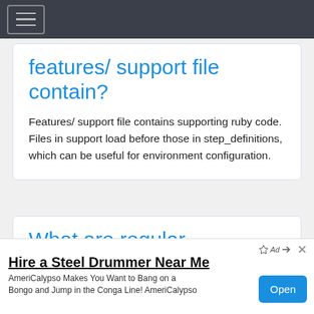Navigation menu bar
features/ support file contain?
Features/ support file contains supporting ruby code. Files in support load before those in step_definitions, which can be useful for environment configuration.
What are regular xpressions?
Hire a Steel Drummer Near Me
AmeriCalypso Makes You Want to Bang on a Bongo and Jump in the Conga Line! AmeriCalypso